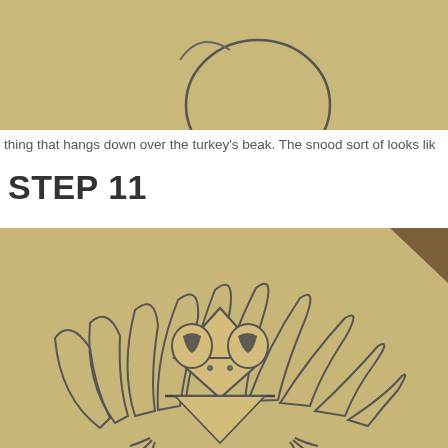[Figure (illustration): Partial view of a hand-drawn turkey sketch on tan/beige paper, showing the upper portion with a circle (head outline).]
thing that hangs down over the turkey's beak. The snood sort of looks lik
STEP 11
[Figure (illustration): Hand-drawn turkey illustration on tan/beige paper showing a turkey with fan-shaped feathers fanning out behind, a triangular beak/head shape, two eyes with dark pupils, nostrils, and feet/claws visible at the bottom.]